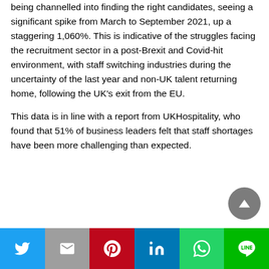being channelled into finding the right candidates, seeing a significant spike from March to September 2021, up a staggering 1,060%. This is indicative of the struggles facing the recruitment sector in a post-Brexit and Covid-hit environment, with staff switching industries during the uncertainty of the last year and non-UK talent returning home, following the UK's exit from the EU.
This data is in line with a report from UKHospitality, who found that 51% of business leaders felt that staff shortages have been more challenging than expected.